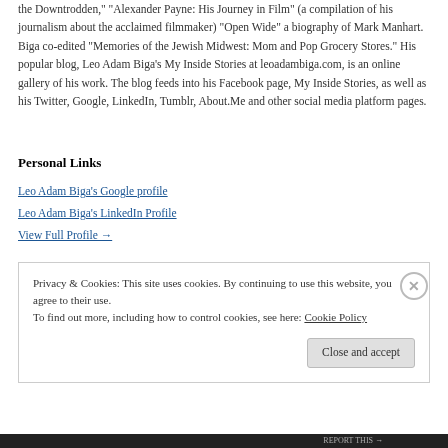the Downtrodden," "Alexander Payne: His Journey in Film" (a compilation of his journalism about the acclaimed filmmaker) "Open Wide" a biography of Mark Manhart. Biga co-edited "Memories of the Jewish Midwest: Mom and Pop Grocery Stores." His popular blog, Leo Adam Biga's My Inside Stories at leoadambiga.com, is an online gallery of his work. The blog feeds into his Facebook page, My Inside Stories, as well as his Twitter, Google, LinkedIn, Tumblr, About.Me and other social media platform pages.
Personal Links
Leo Adam Biga's Google profile
Leo Adam Biga's LinkedIn Profile
View Full Profile →
Privacy & Cookies: This site uses cookies. By continuing to use this website, you agree to their use.
To find out more, including how to control cookies, see here: Cookie Policy